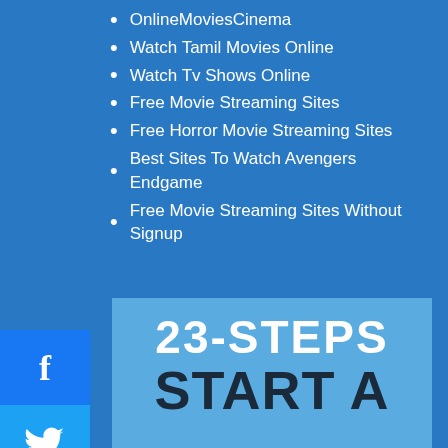OnlineMoviesCinema
Watch Tamil Movies Online
Watch Tv Shows Online
Free Movie Streaming Sites
Free Horror Movie Streaming Sites
Best Sites To Watch Avengers Endgame
Free Movie Streaming Sites Without Signup
[Figure (infographic): Light blue box containing '23-STEPS' in white bold text and 'START A' in dark bold text, partial infographic image]
[Figure (infographic): Social media share buttons: Facebook (blue), Twitter (blue), Pinterest (red) on left side]